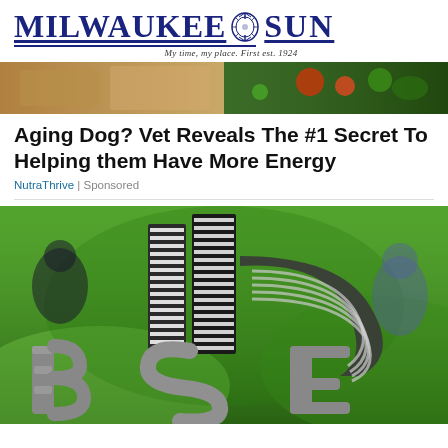MILWAUKEE SUN — My time, my place. First est. 1924
[Figure (photo): Top banner photo showing food/lifestyle items — fabric, vegetables]
Aging Dog? Vet Reveals The #1 Secret To Helping them Have More Energy
NutraThrive | Sponsored
[Figure (photo): BSE (Bombay Stock Exchange) logo sculpture in silver metal with striped tower design, sitting on green grass outdoors]